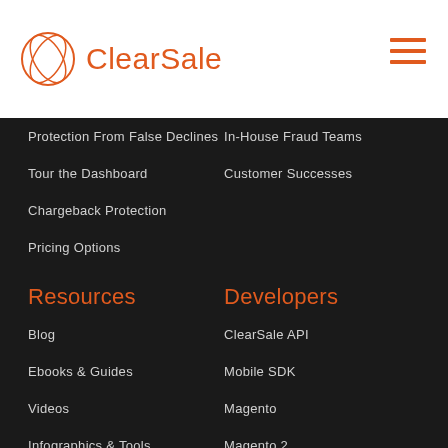ClearSale
Protection From False Declines
In-House Fraud Teams
Tour the Dashboard
Customer Successes
Chargeback Protection
Pricing Options
Resources
Developers
Blog
ClearSale API
Ebooks & Guides
Mobile SDK
Videos
Magento
Infographics & Tools
Magento 2
Knowledge Base
BigCommerce